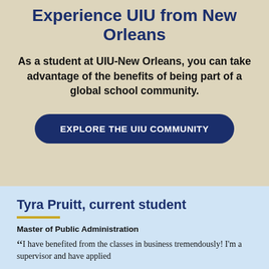Experience UIU from New Orleans
As a student at UIU-New Orleans, you can take advantage of the benefits of being part of a global school community.
EXPLORE THE UIU COMMUNITY
Tyra Pruitt, current student
Master of Public Administration
“I have benefited from the classes in business tremendously! I'm a supervisor and have applied